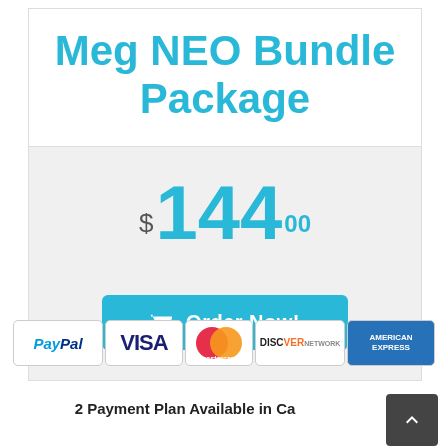Meg NEO Bundle Package
$144.00
Order Now!
[Figure (other): Payment method logos: PayPal, Visa, MasterCard, Discover, American Express]
2 Payment Plan Available in Ca...